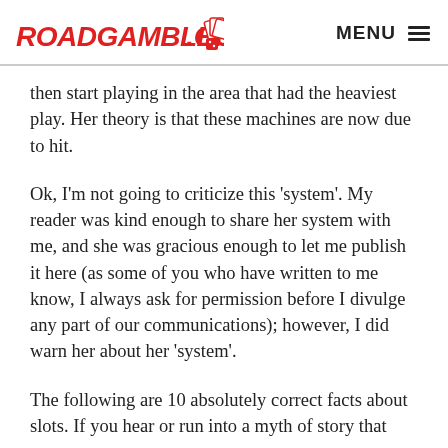ROADGAMBLER.COM  MENU
then start playing in the area that had the heaviest play. Her theory is that these machines are now due to hit.
Ok, I'm not going to criticize this 'system'. My reader was kind enough to share her system with me, and she was gracious enough to let me publish it here (as some of you who have written to me know, I always ask for permission before I divulge  any part of our communications); however, I did warn her about her 'system'.
The following are 10 absolutely correct facts about slots. If you hear or run into a myth of story that